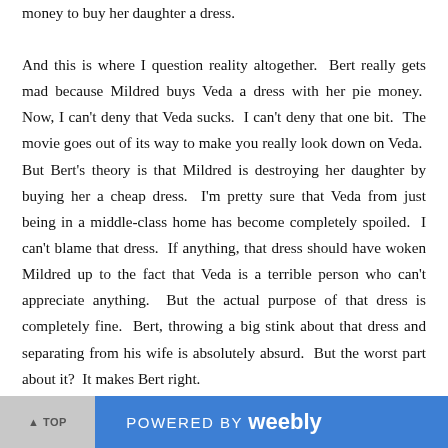money to buy her daughter a dress.
And this is where I question reality altogether.  Bert really gets mad because Mildred buys Veda a dress with her pie money.  Now, I can't deny that Veda sucks.  I can't deny that one bit.  The movie goes out of its way to make you really look down on Veda.  But Bert's theory is that Mildred is destroying her daughter by buying her a cheap dress.  I'm pretty sure that Veda from just being in a middle-class home has become completely spoiled.  I can't blame that dress.  If anything, that dress should have woken Mildred up to the fact that Veda is a terrible person who can't appreciate anything.  But the actual purpose of that dress is completely fine.  Bert, throwing a big stink about that dress and separating from his wife is absolutely absurd.  But the worst part about it?  It makes Bert right.
See, the sleeping with the secretary is still very much implied at
POWERED BY weebly